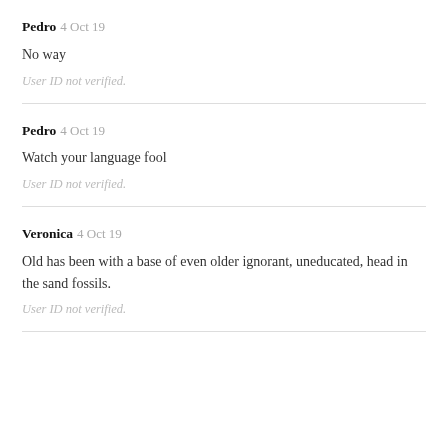Pedro 4 Oct 19
No way
User ID not verified.
Pedro 4 Oct 19
Watch your language fool
User ID not verified.
Veronica 4 Oct 19
Old has been with a base of even older ignorant, uneducated, head in the sand fossils.
User ID not verified.